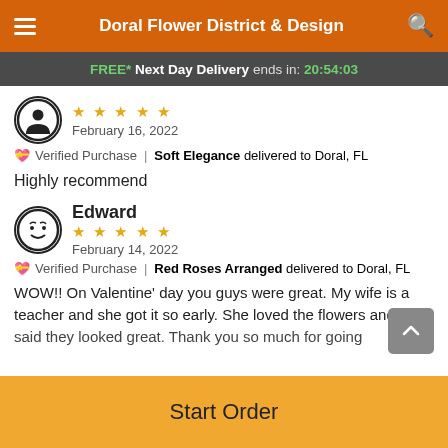Doral Flower District & Design
FREE* Next Day Delivery ends in: 20:54:03
★★★★★   February 16, 2022
Verified Purchase | Soft Elegance delivered to Doral, FL
Highly recommend
Edward
★★★★★   February 14, 2022
Verified Purchase | Red Roses Arranged delivered to Doral, FL
WOW!! On Valentine' day you guys were great. My wife is a teacher and she got it so early. She loved the flowers and she said they looked great. Thank you so much for going
Start Order